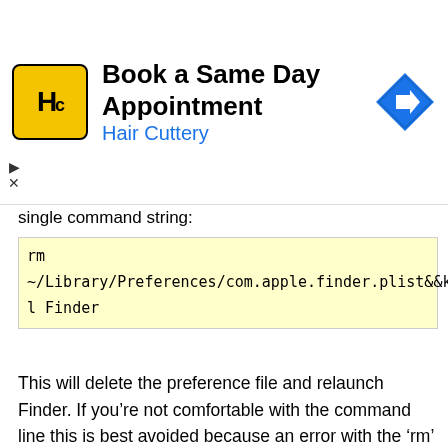[Figure (other): Advertisement banner for Hair Cuttery showing logo, text 'Book a Same Day Appointment / Hair Cuttery', and a navigation arrow icon]
single command string:
rm ~/Library/Preferences/com.apple.finder.plist&&killall Finder
This will delete the preference file and relaunch Finder. If you’re not comfortable with the command line this is best avoided because an error with the ‘rm’ command could theoretically remove unintended files without warning.
Whichever method you use to trash the file from the user Library folder, the result of ditching the Finder preference file is a dramatically calmed down Finder process. If